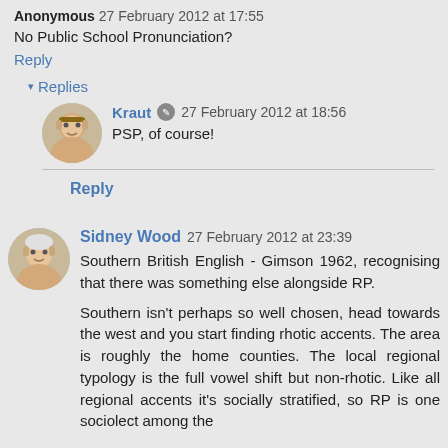Anonymous 27 February 2012 at 17:55
No Public School Pronunciation?
Reply
Replies
Kraut 27 February 2012 at 18:56
PSP, of course!
Reply
Sidney Wood 27 February 2012 at 23:39
Southern British English - Gimson 1962, recognising that there was something else alongside RP.
Southern isn't perhaps so well chosen, head towards the west and you start finding rhotic accents. The area is roughly the home counties. The local regional typology is the full vowel shift but non-rhotic. Like all regional accents it's socially stratified, so RP is one sociolect among the